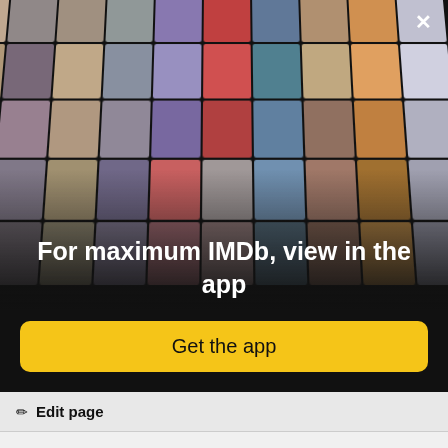[Figure (photo): IMDb app promotional modal overlay showing a collage of celebrity portraits and movie posters arranged in a perspective grid on a dark background]
For maximum IMDb, view in the app
Get the app
Edit page